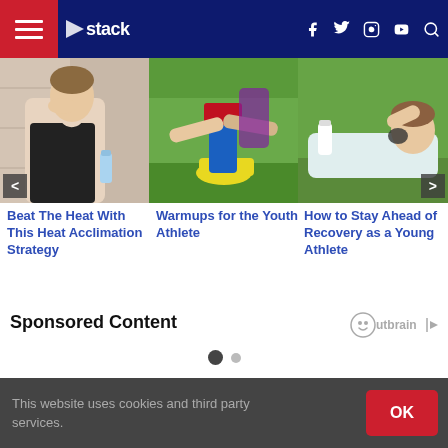stack — navigation bar with hamburger menu, logo, social icons (Facebook, Twitter, Instagram, YouTube), and search
[Figure (photo): Woman athlete wiping sweat from forehead, holding water bottle]
[Figure (photo): Youth soccer player being helped by another player on field]
[Figure (photo): Young male athlete lying on grass looking upward, resting]
Beat The Heat With This Heat Acclimation Strategy
Warmups for the Youth Athlete
How to Stay Ahead of Recovery as a Young Athlete
Sponsored Content
Outbrain logo
This website uses cookies and third party services.